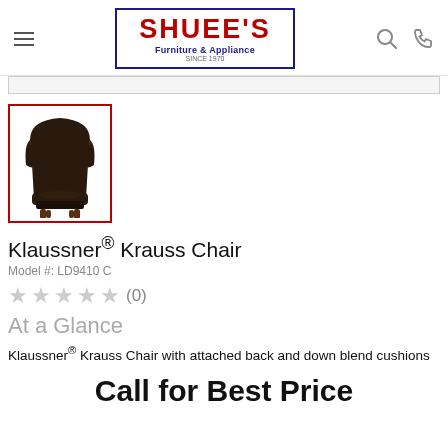SHUEE'S Furniture & Appliance SINCE 1970
[Figure (photo): Dark brown leather wingback accent chair with wooden legs, product thumbnail image with red border]
Klaussner® Krauss Chair
Model #: LD9410 C
★★★★★ (0)
At a Glance
Klaussner® Krauss Chair with attached back and down blend cushions
Call for Best Price